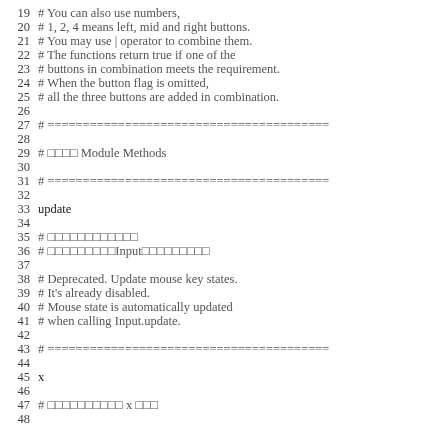19  # You can also use numbers,
20  # 1, 2, 4 means left, mid and right buttons.
21  # You may use | operator to combine them.
22  # The functions return true if one of the
23  # buttons in combination meets the requirement.
24  # When the button flag is omitted,
25  # all the three buttons are added in combination.
26  
27  # ========================================
28  
29  # □□□□ Module Methods
30  
31  # ========================================
32  
33  update
34  
35  # □□□□□□□□□□□□
36  # □□□□□□□□□Input□□□□□□□□□
37  
38  # Deprecated. Update mouse key states.
39  # It's already disabled.
40  # Mouse state is automatically updated
41  # when calling Input.update.
42  
43  # ========================================
44  
45  x
46  
47  # □□□□□□□□□□ x □□□
48